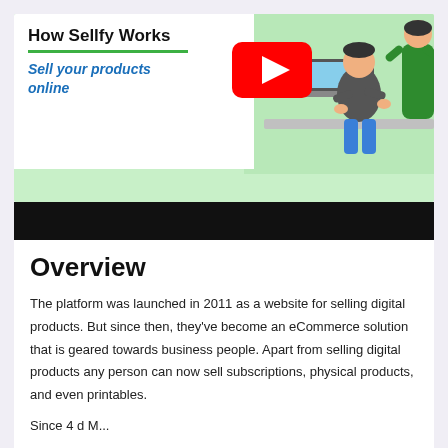[Figure (screenshot): Screenshot of a YouTube video thumbnail for 'How Sellfy Works' showing an illustration of a person at a computer with a green background, a YouTube play button overlay, and text 'Sell your products online'. Below is a black video control bar.]
Overview
The platform was launched in 2011 as a website for selling digital products. But since then, they've become an eCommerce solution that is geared towards business people. Apart from selling digital products any person can now sell subscriptions, physical products, and even printables.
Since 4 d M...